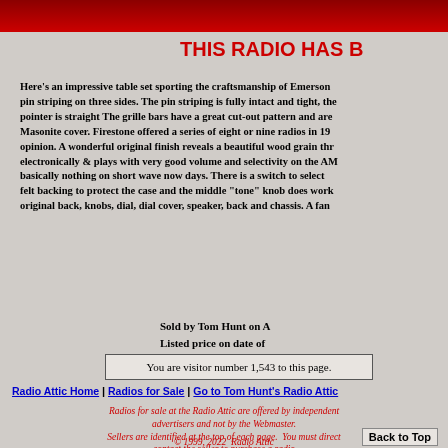[Figure (photo): Red banner image at top of page]
THIS RADIO HAS B
Here's an impressive table set sporting the craftsmanship of Emerson pin striping on three sides. The pin striping is fully intact and tight, the pointer is straight The grille bars have a great cut-out pattern and are Masonite cover. Firestone offered a series of eight or nine radios in 19 opinion. A wonderful original finish reveals a beautiful wood grain thr electronically & plays with very good volume and selectivity on the AM basically nothing on short wave now days. There is a switch to select felt backing to protect the case and the middle "tone" knob does work original back, knobs, dial, dial cover, speaker, back and chassis. A fan
Sold by Tom Hunt on A Listed price on date of
You are visitor number 1,543 to this page.
Radio Attic Home | Radios for Sale | Go to Tom Hunt's Radio Attic
Radios for sale at the Radio Attic are offered by independent advertisers and not by the Webmaster. Sellers are identified at the top of each page. You must direct contact the seller to purchase a radio
© 1999, 2022  Radio Attic
Back to Top